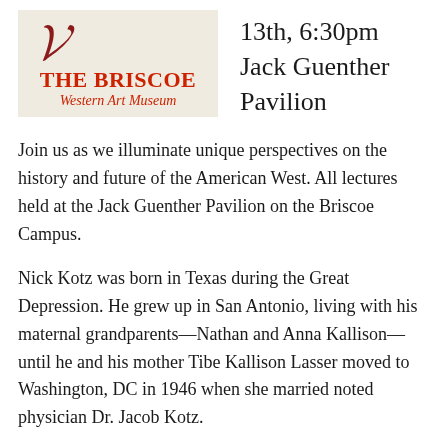[Figure (logo): The Briscoe Western Art Museum logo with red decorative curl, red bold text 'THE BRISCOE' and italic 'Western Art Museum' on a beige/cream background]
13th, 6:30pm Jack Guenther Pavilion
Join us as we illuminate unique perspectives on the history and future of the American West. All lectures held at the Jack Guenther Pavilion on the Briscoe Campus.
Nick Kotz was born in Texas during the Great Depression. He grew up in San Antonio, living with his maternal grandparents—Nathan and Anna Kallison—until he and his mother Tibe Kallison Lasser moved to Washington, DC in 1946 when she married noted physician Dr. Jacob Kotz.